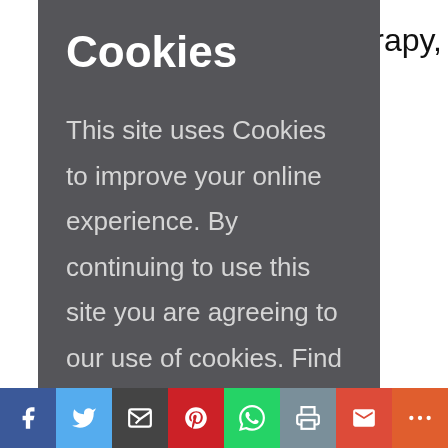n therapy,
[Figure (screenshot): Cookie consent overlay with dark gray background showing title 'Cookies', body text about site cookies policy, and an 'Okay, thanks' button in purple]
being
t cancer or
cancers
ren't fully
[Figure (infographic): Social sharing bar with icons for Facebook, Twitter, Email, Pinterest, WhatsApp, Print, Gmail, and More]